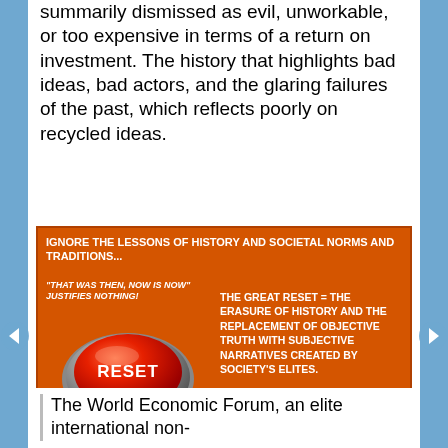summarily dismissed as evil, unworkable, or too expensive in terms of a return on investment. The history that highlights bad ideas, bad actors, and the glaring failures of the past, which reflects poorly on recycled ideas.
[Figure (infographic): Orange background infographic about 'The Great Reset'. Top text reads 'IGNORE THE LESSONS OF HISTORY AND SOCIETAL NORMS AND TRADITIONS...' with sub-text '"THAT WAS THEN, NOW IS NOW" JUSTIFIES NOTHING!' on the left. A large red RESET button is shown in the center-left. Right side text reads 'THE GREAT RESET = THE ERASURE OF HISTORY AND THE REPLACEMENT OF OBJECTIVE TRUTH WITH SUBJECTIVE NARRATIVES CREATED BY SOCIETY'S ELITES.']
Who is behind “The Great Reset?”
The World Economic Forum, an elite international non-